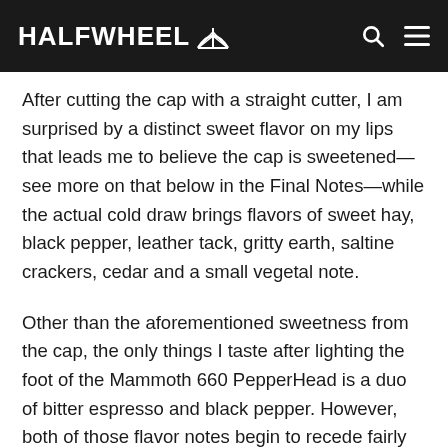HALFWHEEL
After cutting the cap with a straight cutter, I am surprised by a distinct sweet flavor on my lips that leads me to believe the cap is sweetened—see more on that below in the Final Notes—while the actual cold draw brings flavors of sweet hay, black pepper, leather tack, gritty earth, saltine crackers, cedar and a small vegetal note.
Other than the aforementioned sweetness from the cap, the only things I taste after lighting the foot of the Mammoth 660 PepperHead is a duo of bitter espresso and black pepper. However, both of those flavor notes begin to recede fairly quickly so that after about eight puffs a combination of cedar and earth takes the top